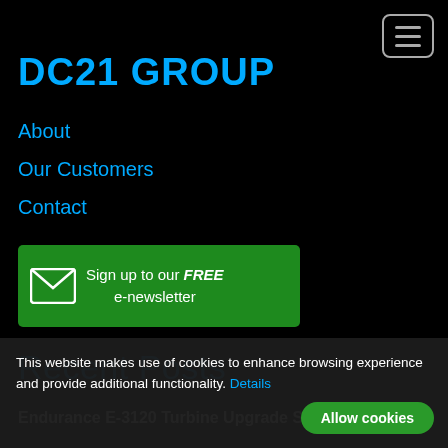DC21 GROUP
About
Our Customers
Contact
[Figure (infographic): Green button with envelope icon: Sign up to our FREE e-newsletter]
Recent Posts
Endurance E-3120 Turbine Upgrade Saves Thousands
This website makes use of cookies to enhance browsing experience and provide additional functionality. Details
Allow cookies